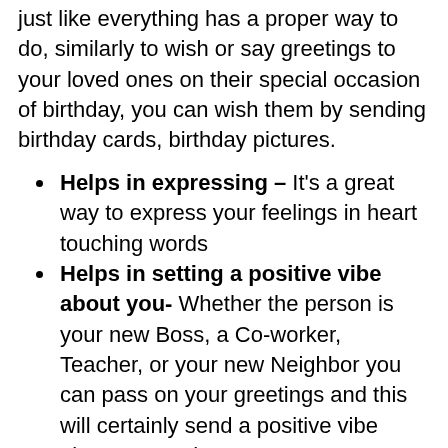just like everything has a proper way to do, similarly to wish or say greetings to your loved ones on their special occasion of birthday, you can wish them by sending birthday cards, birthday pictures.
Helps in expressing – It's a great way to express your feelings in heart touching words
Helps in setting a positive vibe about you- Whether the person is your new Boss, a Co-worker, Teacher, or your new Neighbor you can pass on your greetings and this will certainly send a positive vibe about you to them
It creates positive thinking- while wishing someone you will have to definitely think positive about it, because with negative thinking you can't send someone a positive message